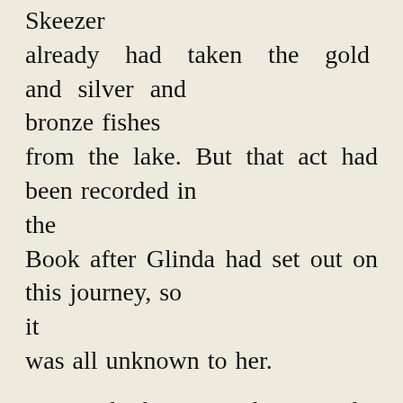Skeezer already had taken the gold and silver and bronze fishes from the lake. But that act had been recorded in the Book after Glinda had set out on this journey, so it was all unknown to her.

“I think I see a boat yonder on the shore,” said Ojo the Munchkin boy, pointing to a place around the edge